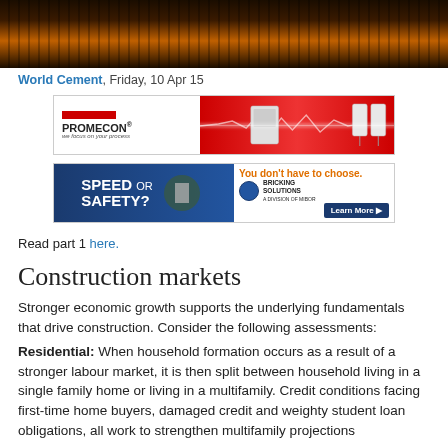[Figure (photo): Industrial/construction scene at dusk or dawn with dark silhouettes and orange glow in background (banner image)]
World Cement, Friday, 10 Apr 15
[Figure (other): PROMECON advertisement banner - red and white ad featuring industrial sensors and PROMECON brand logo with tagline 'we focus on your process']
[Figure (other): Bricking Solutions advertisement - blue and white ad with text 'SPEED or SAFETY? You don't have to choose.' with Bricking Solutions logo and Learn More button]
Read part 1 here.
Construction markets
Stronger economic growth supports the underlying fundamentals that drive construction. Consider the following assessments:
Residential: When household formation occurs as a result of a stronger labour market, it is then split between household living in a single family home or living in a multifamily. Credit conditions facing first-time home buyers, damaged credit and weighty student loan obligations, all work to strengthen multifamily projections